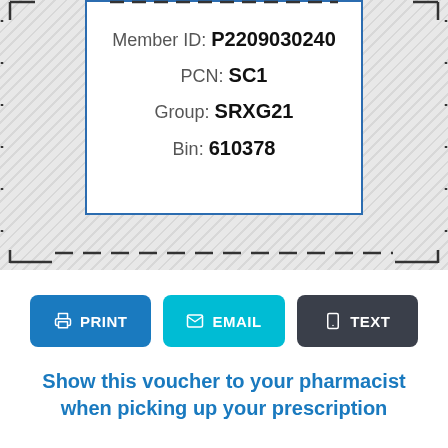Member ID: P2209030240
PCN: SC1
Group: SRXG21
Bin: 610378
[Figure (infographic): Insurance voucher card with dashed cut border, showing Member ID, PCN, Group, and Bin fields on a white card with blue border, surrounded by hatched background]
PRINT   EMAIL   TEXT
Show this voucher to your pharmacist when picking up your prescription